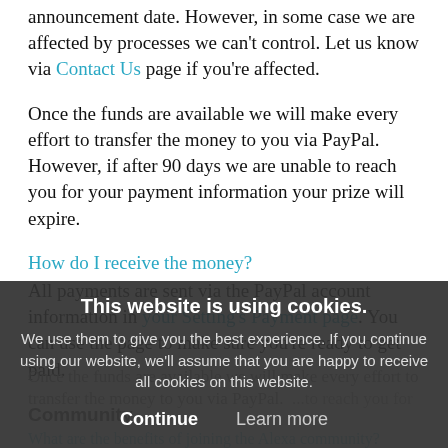announcement date. However, in some case we are affected by processes we can't control. Let us know via Contact Us page if you're affected.
Once the funds are available we will make every effort to transfer the money to you via PayPal.  However, if after 90 days we are unable to reach you for your payment information your prize will expire.
How do I receive the money?
All payments are sent via the PayPal account information in your Setting's Payment page. You can use the page to make sure you're ready to get paid.
Once the funds are available we will make every effort to transfer the money to you via PayPal. ... to reach you for
Community
What are the benefits of joining the Alexa community?
This website is using cookies.
We use them to give you the best experience. If you continue using our website, we'll assume that you are happy to receive all cookies on this website.
Continue   Learn more